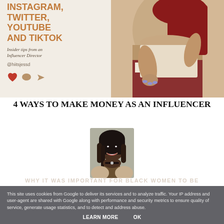[Figure (photo): Social media influencer guide cover image with text overlay: INSTAGRAM, TWITTER, YOUTUBE AND TIKTOK - Insider tips from an Influencer Director - @hiitsjessd, with heart/comment/share icons, and a photo of a Black woman in beige top with red braids and patterned skirt]
4 WAYS TO MAKE MONEY AS AN INFLUENCER
[Figure (photo): Profile photo of a smiling Black woman with braids]
WHY IT WAS IMPORTANT FOR BLACK WOMEN TO BE
This site uses cookies from Google to deliver its services and to analyze traffic. Your IP address and user-agent are shared with Google along with performance and security metrics to ensure quality of service, generate usage statistics, and to detect and address abuse.
LEARN MORE    OK